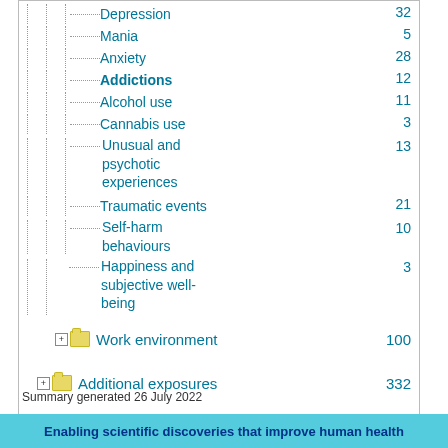Depression    32
Mania    5
Anxiety    28
Addictions    12
Alcohol use    11
Cannabis use    3
Unusual and psychotic experiences    13
Traumatic events    21
Self-harm behaviours    10
Happiness and subjective well-being    3
Work environment    100
Additional exposures    332
Health-related outcomes    2483
Summary generated 26 July 2022
Enabling scientific discoveries that improve human health